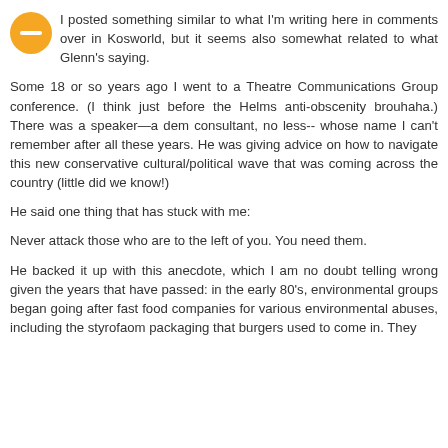[Figure (logo): Orange circular avatar/profile icon with a white minus/dash symbol in the center]
I posted something similar to what I'm writing here in comments over in Kosworld, but it seems also somewhat related to what Glenn's saying.
Some 18 or so years ago I went to a Theatre Communications Group conference. (I think just before the Helms anti-obscenity brouhaha.) There was a speaker—a dem consultant, no less-- whose name I can't remember after all these years. He was giving advice on how to navigate this new conservative cultural/political wave that was coming across the country (little did we know!)
He said one thing that has stuck with me:
Never attack those who are to the left of you. You need them.
He backed it up with this anecdote, which I am no doubt telling wrong given the years that have passed: in the early 80's, environmental groups began going after fast food companies for various environmental abuses, including the styrofaom packaging that burgers used to come in. They